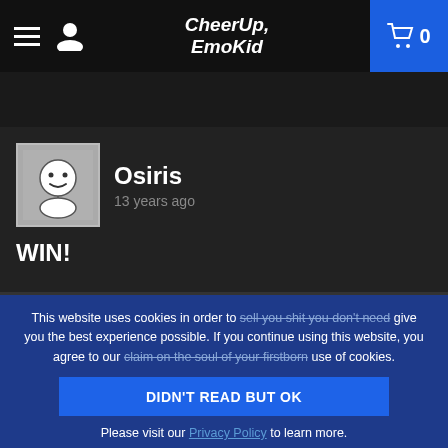CheerUp, EmoKid — navigation bar with hamburger menu, user icon, logo, and cart (0)
Osiris
13 years ago
WIN!
This website uses cookies in order to sell you shit you don't need give you the best experience possible. If you continue using this website, you agree to our claim on the soul of your firstborn use of cookies.
DIDN'T READ BUT OK
Please visit our Privacy Policy to learn more.